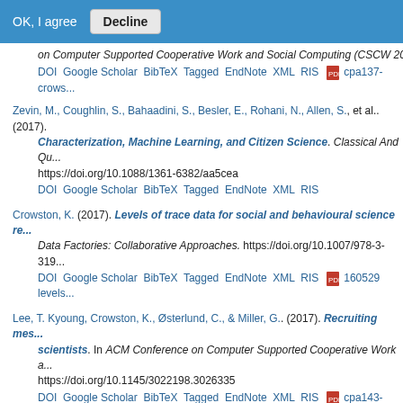OK, I agree | Decline
on Computer Supported Cooperative Work and Social Computing (CSCW 20...
DOI Google Scholar BibTeX Tagged EndNote XML RIS [pdf] cpa137-crows...
Zevin, M., Coughlin, S., Bahaadini, S., Besler, E., Rohani, N., Allen, S., et al.. (2017). Characterization, Machine Learning, and Citizen Science. Classical And Qu... https://doi.org/10.1088/1361-6382/aa5cea
DOI Google Scholar BibTeX Tagged EndNote XML RIS
Crowston, K. (2017). Levels of trace data for social and behavioural science re... Data Factories: Collaborative Approaches. https://doi.org/10.1007/978-3-319...
DOI Google Scholar BibTeX Tagged EndNote XML RIS [pdf] 160529 levels...
Lee, T. Kyoung, Crowston, K., Østerlund, C., & Miller, G.. (2017). Recruiting mes... scientists. In ACM Conference on Computer Supported Cooperative Work a... https://doi.org/10.1145/3022198.3026335
DOI Google Scholar BibTeX Tagged EndNote XML RIS [pdf] cpa143-leeA.p...
2016
Jackson, C. B., Crowston, K., Mugar, G., & Østerlund, C.. (2016). Encouraging Wo... Anchoring. In ACM Conference on Computer Supported Cooperative Work a... https://doi.org/10.1145/2818052.2869129
DOI Google Scholar BibTeX Tagged EndNote XML RIS [pdf] CSCW-abstr...